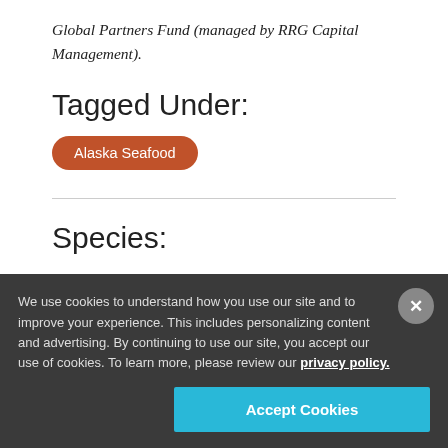Global Partners Fund (managed by RRG Capital Management).
Tagged Under:
Alaska Seafood
Species:
We use cookies to understand how you use our site and to improve your experience. This includes personalizing content and advertising. By continuing to use our site, you accept our use of cookies. To learn more, please review our privacy policy.
Accept Cookies